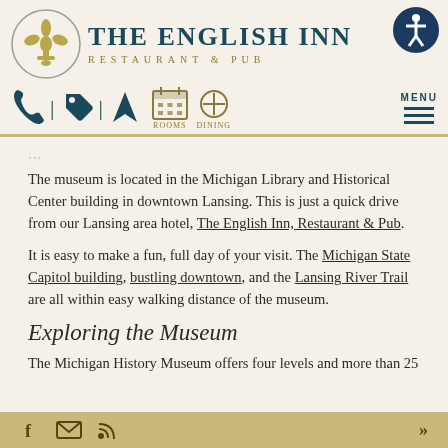[Figure (logo): The English Inn Restaurant & Pub logo with fleur-de-lis in circle and accessibility icon]
[Figure (infographic): Navigation icons: phone, tag, location arrow, rooms calendar, dining fork/knife, and MENU hamburger button]
The museum is located in the Michigan Library and Historical Center building in downtown Lansing. This is just a quick drive from our Lansing area hotel, The English Inn, Restaurant & Pub.
It is easy to make a fun, full day of your visit. The Michigan State Capitol building, bustling downtown, and the Lansing River Trail are all within easy walking distance of the museum.
Exploring the Museum
The Michigan History Museum offers four levels and more than 25
Facebook, Email, RSS icons and navigation arrows